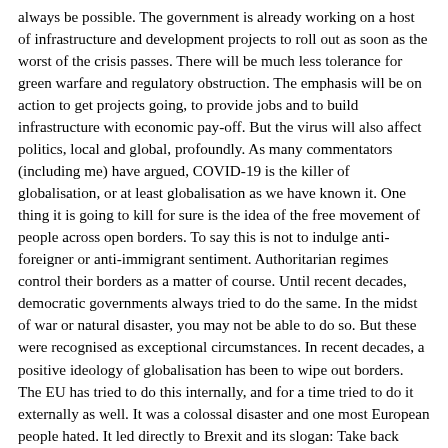always be possible. The government is already working on a host of infrastructure and development projects to roll out as soon as the worst of the crisis passes. There will be much less tolerance for green warfare and regulatory obstruction. The emphasis will be on action to get projects going, to provide jobs and to build infrastructure with economic pay-off. But the virus will also affect politics, local and global, profoundly. As many commentators (including me) have argued, COVID-19 is the killer of globalisation, or at least globalisation as we have known it. One thing it is going to kill for sure is the idea of the free movement of people across open borders. To say this is not to indulge anti-foreigner or anti-immigrant sentiment. Authoritarian regimes control their borders as a matter of course. Until recent decades, democratic governments always tried to do the same. In the midst of war or natural disaster, you may not be able to do so. But these were recognised as exceptional circumstances. In recent decades, a positive ideology of globalisation has been to wipe out borders. The EU has tried to do this internally, and for a time tried to do it externally as well. It was a colossal disaster and one most European people hated. It led directly to Brexit and its slogan: Take back control. Immigration was crucial in the Brexit referendum. That was not because the Brits are inherently anti-immigrant, but because they want to control immigration. In 2015, Germany Chancellor Angela Merkel